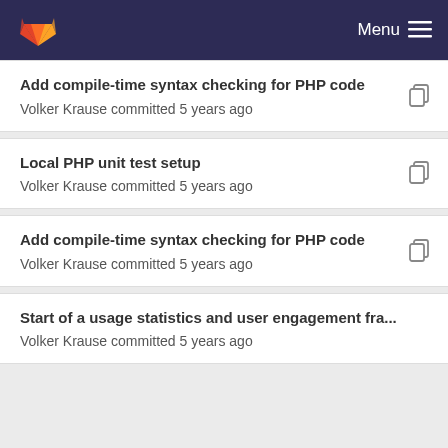GitLab — Menu
Add compile-time syntax checking for PHP code
Volker Krause committed 5 years ago
Local PHP unit test setup
Volker Krause committed 5 years ago
Add compile-time syntax checking for PHP code
Volker Krause committed 5 years ago
Start of a usage statistics and user engagement fra...
Volker Krause committed 5 years ago